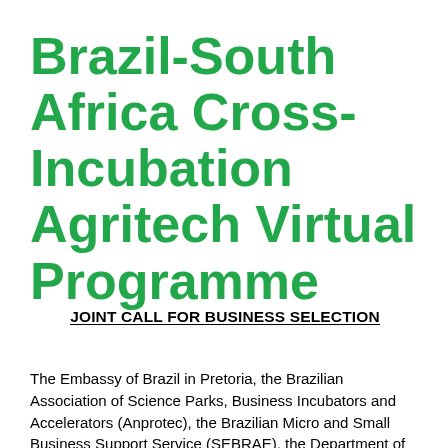Brazil-South Africa Cross-Incubation Agritech Virtual Programme
JOINT CALL FOR BUSINESS SELECTION
The Embassy of Brazil in Pretoria, the Brazilian Association of Science Parks, Business Incubators and Accelerators (Anprotec), the Brazilian Micro and Small Business Support Service (SEBRAE), the Department of Science and Innovation of South Africa...